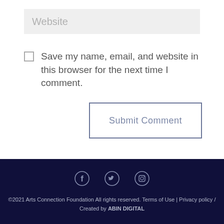Website
Save my name, email, and website in this browser for the next time I comment.
Submit Comment
©2021 Arts Connection Foundation All rights reserved. Terms of Use | Privacy policy / Created by ABIN DIGITAL